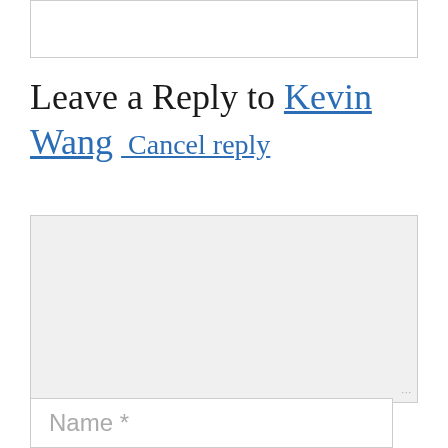[Figure (screenshot): Top portion of a comment/reply text input box, partially visible at the top of the page]
Leave a Reply to Kevin Wang  Cancel reply
[Figure (screenshot): Large comment text area input box with light grey background]
Name *